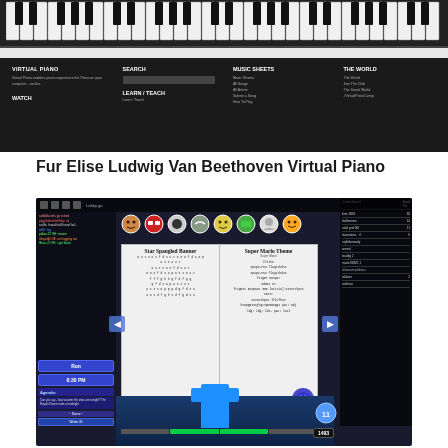[Figure (screenshot): Screenshot of Virtual Piano website showing piano keys at top and navigation menu with sections: VIRTUAL PIANO, SEARCH, MUSIC SHEETS, THE WORLD, WATCH, LEARN/TEACH]
Fur Elise Ludwig Van Beethoven Virtual Piano
[Figure (screenshot): Screenshot of a Roblox game showing a virtual piano interface with music sheets for 'Star Spangled Banner' and 'Super Mario Theme', emoji panel, chat sidebar, player controls, and leaderboard on the right side]